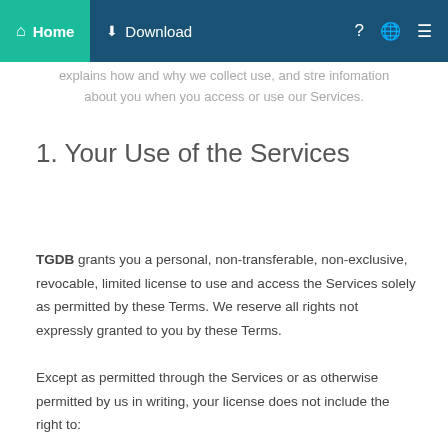Home  Download
explains how and why we collect use, and stre information about you when you access or use our Services.
1. Your Use of the Services
TGDB grants you a personal, non-transferable, non-exclusive, revocable, limited license to use and access the Services solely as permitted by these Terms. We reserve all rights not expressly granted to you by these Terms.
Except as permitted through the Services or as otherwise permitted by us in writing, your license does not include the right to: